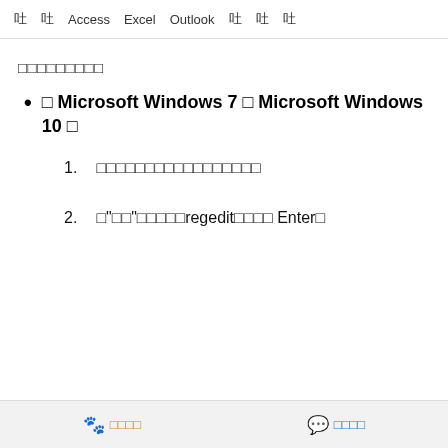吐 吐 Access Excel Outlook 吐 吐 吐
□□□□□□□□□
□ Microsoft Windows 7 □ Microsoft Windows 10 □
1. □□□□□□□□□□□□□□□□□
2. □"□□"□□□□□regedit□□□□ Enter□
🐾 □□□□   💬 □□□□